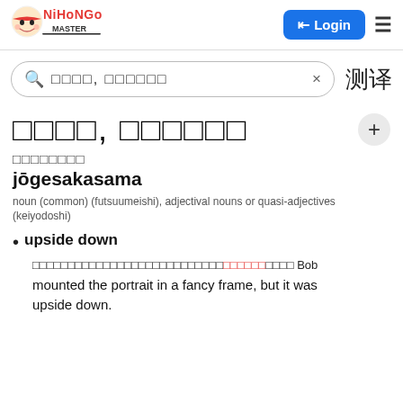Nihongo Master — Login
Search box: □□□□, □□□□□□
□□□□, □□□□□□
□□□□□□□□
jōgesakasama
noun (common) (futsuumeishi), adjectival nouns or quasi-adjectives (keiyodoshi)
upside down
□□□□□□□□□□□□□□□□□□□□□□□□□□□□□□□□ Bob mounted the portrait in a fancy frame, but it was upside down.